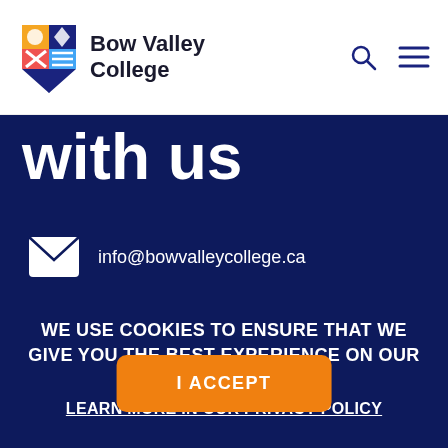[Figure (logo): Bow Valley College logo with shield icon and text]
with us
info@bowvalleycollege.ca
WE USE COOKIES TO ENSURE THAT WE GIVE YOU THE BEST EXPERIENCE ON OUR WEBSITE.
LEARN MORE IN OUR PRIVACY POLICY
I ACCEPT